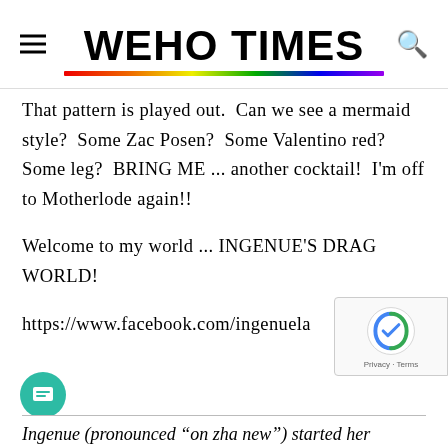WEHO TIMES
That pattern is played out.  Can we see a mermaid style?  Some Zac Posen?  Some Valentino red?  Some leg?  BRING ME ... another cocktail!  I'm off to Motherlode again!!
Welcome to my world ... INGENUE'S DRAG WORLD!
https://www.facebook.com/ingenuela
Ingenue (pronounced “on zha new”) started her